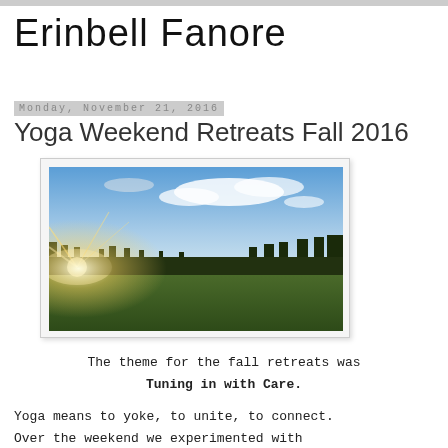Erinbell Fanore
Monday, November 21, 2016
Yoga Weekend Retreats Fall 2016
[Figure (photo): Landscape photo showing a green field at sunset or sunrise with trees silhouetted on the horizon and blue sky with clouds above]
The theme for the fall retreats was
Tuning in with Care.
Yoga means to yoke, to unite, to connect.
Over the weekend we experimented with